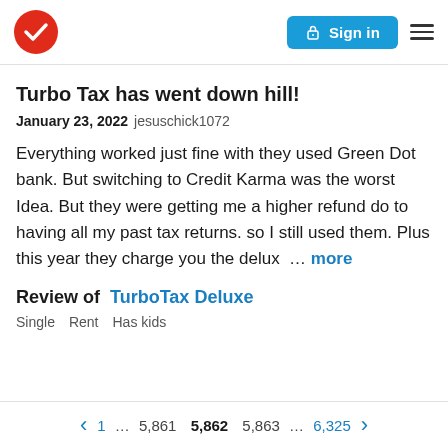TrustedSite logo | Sign in | Menu
Turbo Tax has went down hill!
January 23, 2022 jesuschick1072
Everything worked just fine with they used Green Dot bank. But switching to Credit Karma was the worst Idea. But they were getting me a higher refund do to having all my past tax returns. so I still used them. Plus this year they charge you the delux … more
Review of TurboTax Deluxe
Single   Rent   Has kids
1 … 5,861  5,862  5,863 … 6,325